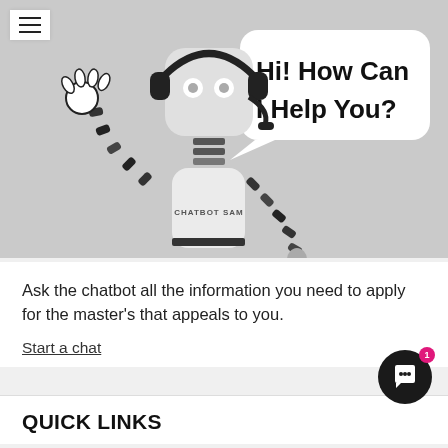[Figure (illustration): A robot illustration labeled 'CHATBOT SAM' with a headset, waving one hand, with a speech bubble saying 'Hi! How Can I Help You?' on a gray background.]
Ask the chatbot all the information you need to apply for the master's that appeals to you.
Start a chat
QUICK LINKS